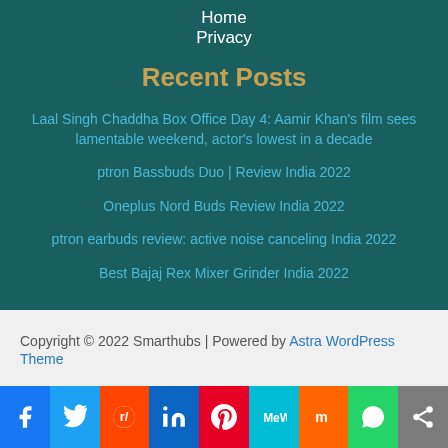Home
Privacy
Recent Posts
Laal Singh Chaddha Box Office Day 4: Aamir Khan's film sees lamentable weekend, actor's lowest in a decade
ptron Bassbuds Duo | Review India 2022
Oneplus Nord Buds Review India 2022
ptron earbuds review: active noise canceling India 2022
Best Bajaj Rex Mixer Grinder India 2022
Copyright © 2022 Smarthubs | Powered by Astra WordPress Theme